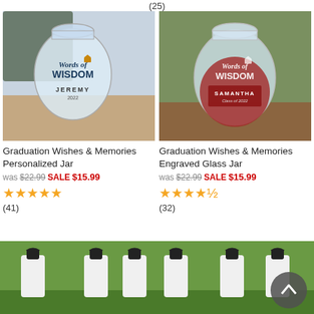(25)
[Figure (photo): Glass jar with 'Words of Wisdom JEREMY 2022' label, personalized graduation jar]
Graduation Wishes & Memories Personalized Jar
was $22.99 SALE $15.99
★★★★★ (41)
[Figure (photo): Engraved glass jar with 'Words of Wisdom SAMANTHA Class of 2022' etching on red background]
Graduation Wishes & Memories Engraved Glass Jar
was $22.99 SALE $15.99
★★★★½ (32)
[Figure (photo): White water bottles with black flip-top caps on grass background]
[Figure (photo): White water bottles with black flip-top caps on grass background, with back-to-top arrow button overlay]